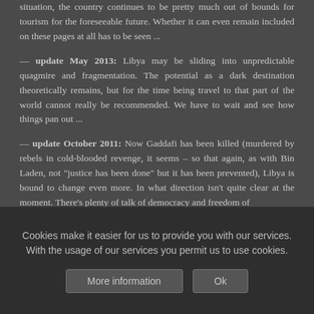situation, the country continues to be pretty much out of bounds for tourism for the foreseeable future. Whether it can even remain included on these pages at all has to be seen ...
— update May 2013: Libya may be sliding into unpredictable quagmire and fragmentation. The potential as a dark destination theoretically remains, but for the time being travel to that part of the world cannot really be recommended. We have to wait and see how things pan out ...
— update October 2011: Now Gaddafi has been killed (murdered by rebels in cold-blooded revenge, it seems – so that again, as with Bin Laden, not "justice has been done" but it has been prevented), Libya is bound to change even more. In what direction isn't quite clear at the moment. There's plenty of talk of democracy and freedom of
Cookies make it easier for us to provide you with our services. With the usage of our services you permit us to use cookies.